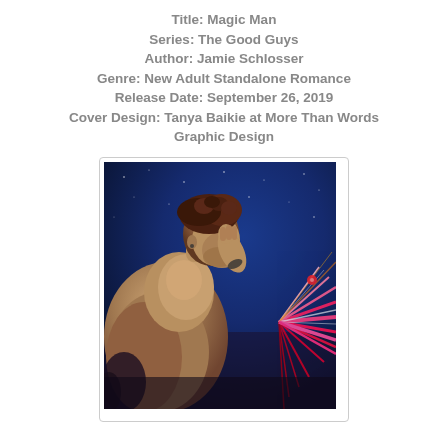Title: Magic Man
Series: The Good Guys
Author: Jamie Schlosser
Genre: New Adult Standalone Romance
Release Date: September 26, 2019
Cover Design: Tanya Baikie at More Than Words Graphic Design
[Figure (photo): Book cover for Magic Man showing a shirtless muscular man with curly brown hair, head bowed with hand raised to forehead, against a dark blue starry night sky background with colorful neon light burst effects in red, pink, and white radiating from the right side.]